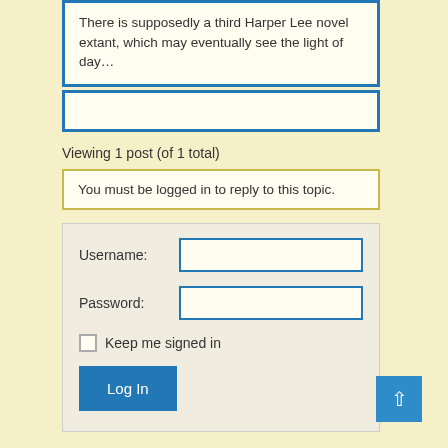There is supposedly a third Harper Lee novel extant, which may eventually see the light of day…
Viewing 1 post (of 1 total)
You must be logged in to reply to this topic.
Username:
Password:
Keep me signed in
Log In